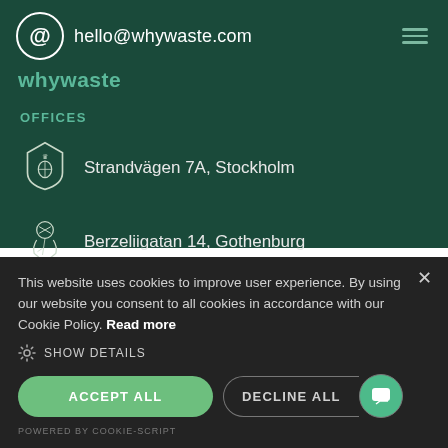hello@whywaste.com
whywaste
OFFICES
Strandvägen 7A, Stockholm
Berzeliigatan 14, Gothenburg
This website uses cookies to improve user experience. By using our website you consent to all cookies in accordance with our Cookie Policy. Read more
SHOW DETAILS
ACCEPT ALL
DECLINE ALL
POWERED BY COOKIE-SCRIPT